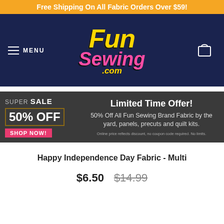Free Shipping On All Fabric Orders Over $59!
[Figure (logo): Fun Sewing .com logo with yellow Fun text and pink Sewing text on dark navy background, with hamburger menu and cart icon]
[Figure (infographic): Super Sale 50% OFF SHOP NOW banner on dark background with Limited Time Offer - 50% Off All Fun Sewing Brand Fabric by the yard, panels, precuts and quilt kits. Online price reflects discount, no coupon code required. No limits.]
Happy Independence Day Fabric - Multi
$6.50  $14.99